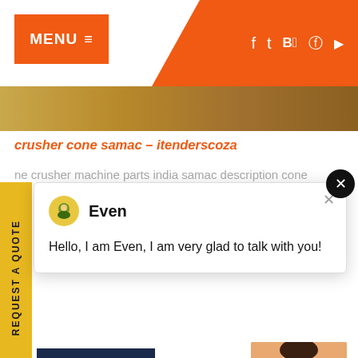MENU ≡   f  t  Be  ⊕  ▶
crusher cone samac - itenderscoza
ne crusher machine parts india samac description cone
[Figure (screenshot): Chat popup with avatar showing 'Even' and message 'Hello, I am Even, I am very glad to talk with you!']
GET QUOTE
[Figure (photo): Industrial machinery/silos against blue sky]
Have any n click here.
Quota ⌃
Enquiry
drobilkalm